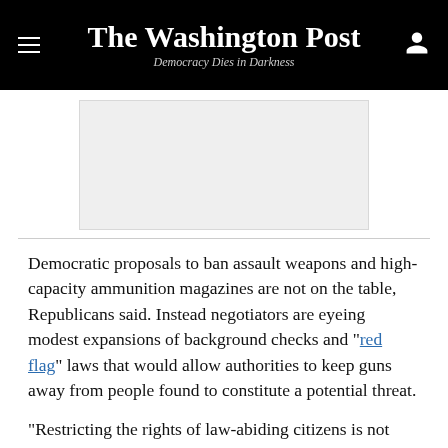The Washington Post — Democracy Dies in Darkness
[Figure (other): Advertisement placeholder block, gray rectangle]
Democratic proposals to ban assault weapons and high-capacity ammunition magazines are not on the table, Republicans said. Instead negotiators are eyeing modest expansions of background checks and “red flag” laws that would allow authorities to keep guns away from people found to constitute a potential threat.
“Restricting the rights of law-abiding citizens is not going to make our communities or our country any safer,” Cornyn told reporters. “We need to focus on the